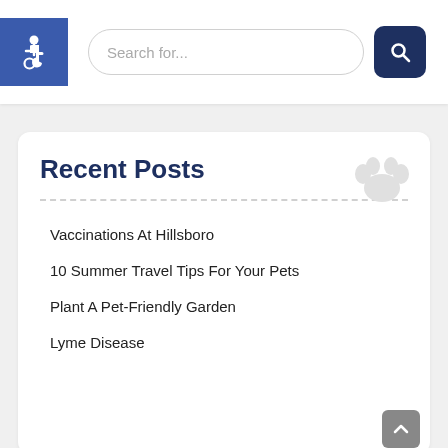[Figure (illustration): Blue accessibility icon with wheelchair symbol]
Search for...
[Figure (illustration): Dark navy search button with magnifying glass icon]
Recent Posts
Vaccinations At Hillsboro
10 Summer Travel Tips For Your Pets
Plant A Pet-Friendly Garden
Lyme Disease